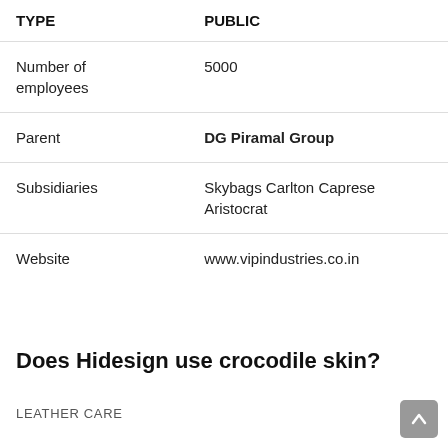| TYPE | PUBLIC |
| --- | --- |
| Number of employees | 5000 |
| Parent | DG Piramal Group |
| Subsidiaries | Skybags Carlton Caprese Aristocrat |
| Website | www.vipindustries.co.in |
Does Hidesign use crocodile skin?
LEATHER CARE